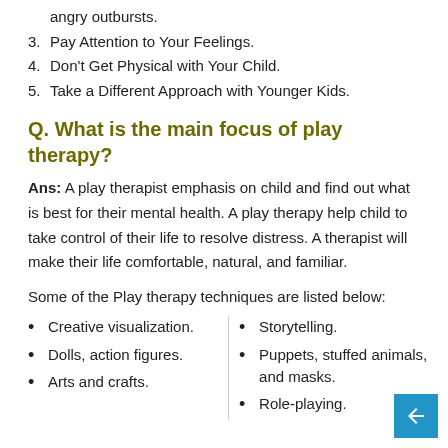angry outbursts.
3. Pay Attention to Your Feelings.
4. Don't Get Physical with Your Child.
5. Take a Different Approach with Younger Kids.
Q. What is the main focus of play therapy?
Ans: A play therapist emphasis on child and find out what is best for their mental health. A play therapy help child to take control of their life to resolve distress. A therapist will make their life comfortable, natural, and familiar.
Some of the Play therapy techniques are listed below:
Creative visualization.
Dolls, action figures.
Arts and crafts.
Storytelling.
Puppets, stuffed animals, and masks.
Role-playing.